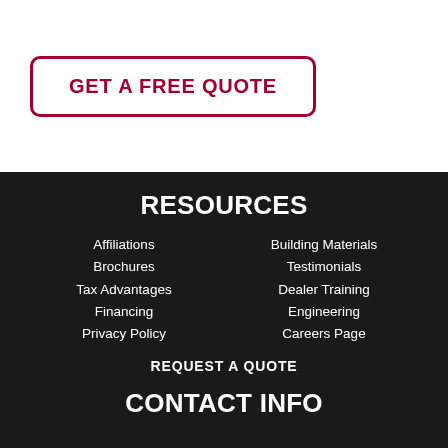GET A FREE QUOTE
RESOURCES
Affiliations
Brochures
Tax Advantages
Financing
Privacy Policy
Building Materials
Testimonials
Dealer Training
Engineering
Careers Page
REQUEST A QUOTE
CONTACT INFO